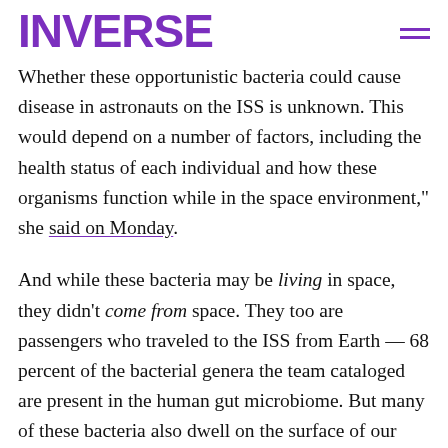INVERSE
Whether these opportunistic bacteria could cause disease in astronauts on the ISS is unknown. This would depend on a number of factors, including the health status of each individual and how these organisms function while in the space environment," she said on Monday.
And while these bacteria may be living in space, they didn't come from space. They too are passengers who traveled to the ISS from Earth — 68 percent of the bacterial genera the team cataloged are present in the human gut microbiome. But many of these bacteria also dwell on the surface of our bodies. Staph, for instance, is commonly found on human skin.
Average people encounter these bacteria every day as they touch keyboards, other humans, and sweaty gym